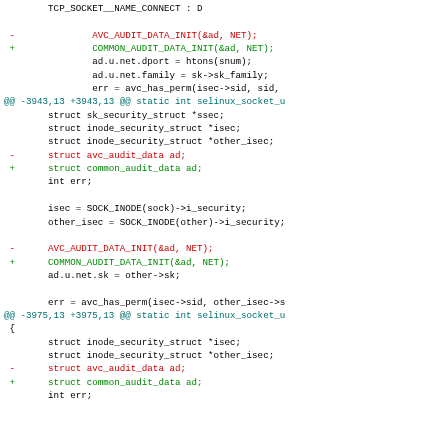Code diff showing replacement of AVC_AUDIT_DATA_INIT with COMMON_AUDIT_DATA_INIT and avc_audit_data with common_audit_data in selinux socket functions